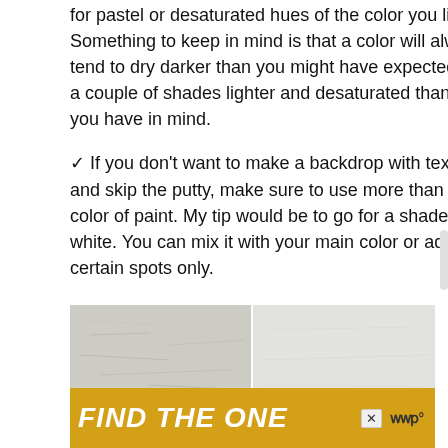for pastel or desaturated hues of the color you like. Something to keep in mind is that a color will always tend to dry darker than you might have expected. Try a couple of shades lighter and desaturated than what you have in mind.
✓ If you don't want to make a backdrop with texture and skip the putty, make sure to use more than one color of paint. My tip would be to go for a shade of white. You can mix it with your main color or add it to certain spots only.
[Figure (photo): Two side-by-side photos of painted wall textures — left is rougher grey-white plaster texture, right is smoother lighter texture]
[Figure (infographic): Advertisement banner with gold background reading FIND THE ONE with a dog image and a close button, plus a music streaming logo]